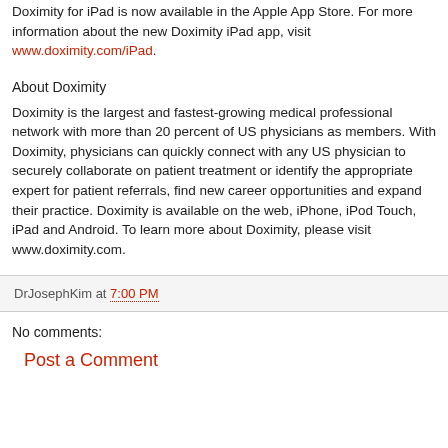Doximity for iPad is now available in the Apple App Store. For more information about the new Doximity iPad app, visit www.doximity.com/iPad.
About Doximity
Doximity is the largest and fastest-growing medical professional network with more than 20 percent of US physicians as members. With Doximity, physicians can quickly connect with any US physician to securely collaborate on patient treatment or identify the appropriate expert for patient referrals, find new career opportunities and expand their practice. Doximity is available on the web, iPhone, iPod Touch, iPad and Android. To learn more about Doximity, please visit www.doximity.com.
DrJosephKim at 7:00 PM
No comments:
Post a Comment